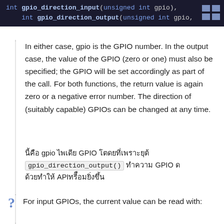[Figure (screenshot): Code block showing C function signatures: int gpio_direction_input(unsigned int gpio) and int gpio_direction_output(unsigned int gpio, with dark background]
In either case, gpio is the GPIO number. In the output case, the value of the GPIO (zero or one) must also be specified; the GPIO will be set accordingly as part of the call. For both functions, the return value is again zero or a negative error number. The direction of (suitably capable) GPIOs can be changed at any time.
ในกรณีใดกรณีหนึ่ง gpio คือ GPIO ในกรณีที่เป็น output gpio_direction_output() จะกำหนดค่า GPIO ด้วยทำให้ API สะดวกยิ่งขึ้น
For input GPIOs, the current value can be read with: